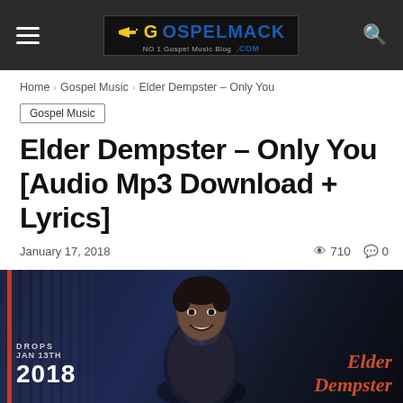GOSPELMACK.COM - No 1 Gospel Music Blog
Home › Gospel Music › Elder Dempster – Only You
Gospel Music
Elder Dempster – Only You [Audio Mp3 Download + Lyrics]
January 17, 2018   710  0
[Figure (photo): Promotional photo of Elder Dempster smiling, wearing a black jacket, with text overlay 'DROPS JAN 13TH 2018' and cursive signature 'Elder Dempster' in red/orange on dark blue background]